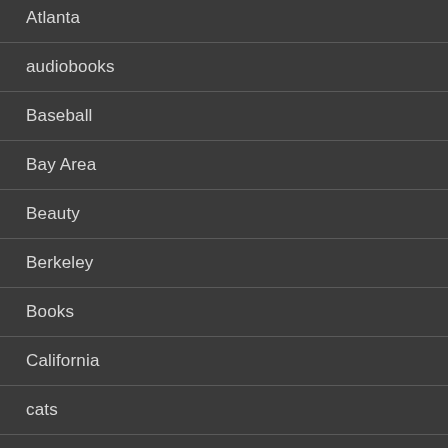Atlanta
audiobooks
Baseball
Bay Area
Beauty
Berkeley
Books
California
cats
Celebrities